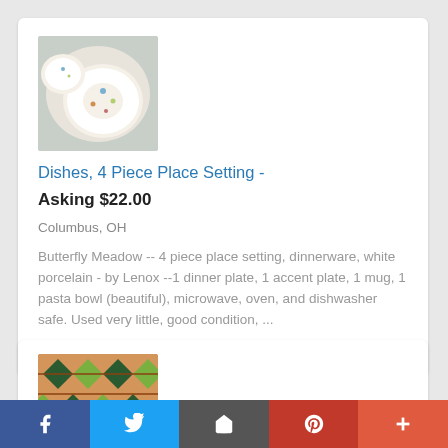[Figure (photo): Thumbnail photo of white porcelain dishes with floral pattern (Butterfly Meadow by Lenox)]
Dishes, 4 Piece Place Setting -
Asking $22.00
Columbus, OH
Butterfly Meadow -- 4 piece place setting, dinnerware, white porcelain - by Lenox --1 dinner plate, 1 accent plate, 1 mug, 1 pasta bowl (beautiful), microwave, oven, and dishwasher safe. Used very little, good condition, ...
Posted 3 months ago
[Figure (photo): Thumbnail photo of colorful woven/geometric textile item]